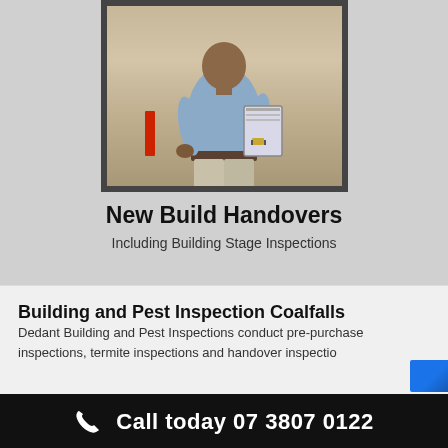[Figure (photo): Photo of a person in a light blue shirt holding a clipboard or binder, standing outdoors on sandy/dusty ground. A red stake or marker is visible to the left. The photo has a dark gray border frame.]
New Build Handovers
Including Building Stage Inspections
Building and Pest Inspection Coalfalls
Dedant Building and Pest Inspections conduct pre-purchase inspections, termite inspections and handover inspectio
Call today 07 3807 0122